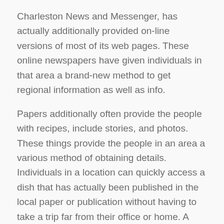Charleston News and Messenger, has actually additionally provided on-line versions of most of its web pages. These online newspapers have given individuals in that area a brand-new method to get regional information as well as info.
Papers additionally often provide the people with recipes, include stories, and photos. These things provide the people in an area a various method of obtaining details. Individuals in a location can quickly access a dish that has actually been published in the local paper or publication without having to take a trip far from their office or home. A number of the newspapers have also begun to develop internet sites as well as e-zines to allow their neighborhoods to communicate with the regional content.